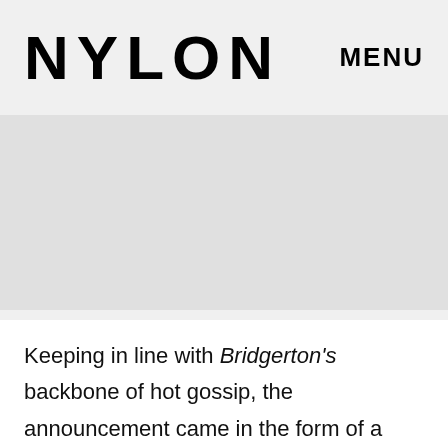NYLON   MENU
[Figure (photo): Large image placeholder area, light gray background]
Keeping in line with Bridgerton's backbone of hot gossip, the announcement came in the form of a proclamation of Lady Whistledown herself. The